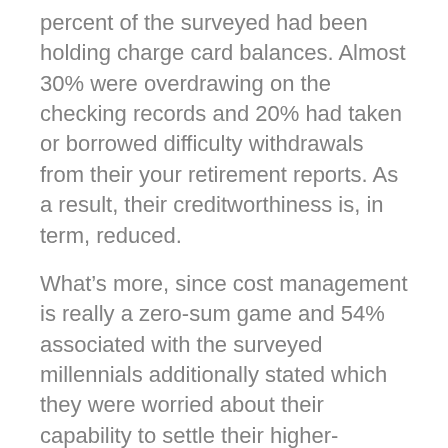percent of the surveyed had been holding charge card balances. Almost 30% were overdrawing on the checking records and 20% had taken or borrowed difficulty withdrawals from their your retirement reports. As a result, their creditworthiness is, in term, reduced.
What’s more, since cost management is really a zero-sum game and 54% associated with the surveyed millennials additionally stated which they were worried about their capability to settle their higher-education loans, it is reasonable to summarize why these will be the debt burden that underlie the situation. Cash woes linked to education loan debts is not all that surprising: Roughly half regarding the student education loans